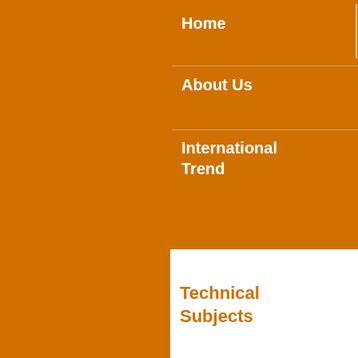Home
JAPANESE
About Us
International Trend
Technical Subjects
Events
Publications
Database
Site Policy
RED